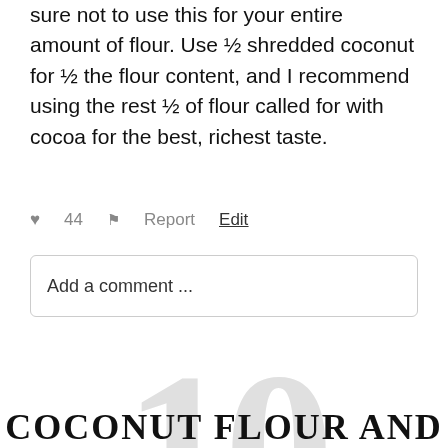sure not to use this for your entire amount of flour. Use ½ shredded coconut for ½ the flour content, and I recommend using the rest ½ of flour called for with cocoa for the best, richest taste.
♥ 44   ⚑ Report   Edit
Add a comment ...
10
COCONUT FLOUR AND